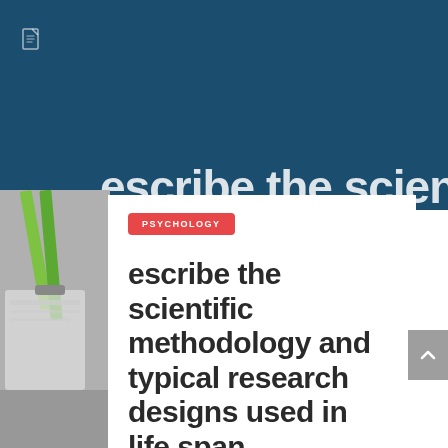[Figure (photo): Dark teal/navy background header area with a small document icon in the top left, and partial bold white text of a title visible at the bottom edge]
[Figure (photo): Left side photo showing pencils and notebook/clipboard items in grayscale]
PSYCHOLOGY
escribe the scientific methodology and typical research designs used in life span psychology (refer to your text).